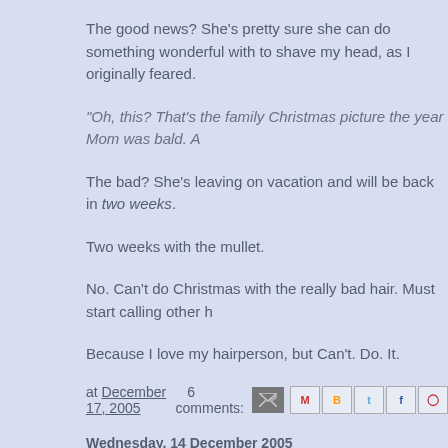The good news? She's pretty sure she can do something wonderful with it. She's not going to shave my head, as I originally feared.
"Oh, this? That's the family Christmas picture the year Mom was bald. A
The bad? She's leaving on vacation and will be back in two weeks.
Two weeks with the mullet.
No. Can't do Christmas with the really bad hair. Must start calling other h
Because I love my hairperson, but Can't. Do. It.
at December 17, 2005   6 comments:
Wednesday, 14 December 2005
recovering
You know the old saying about the flu?
First you think you're going to die, and then you're afraid you won't?